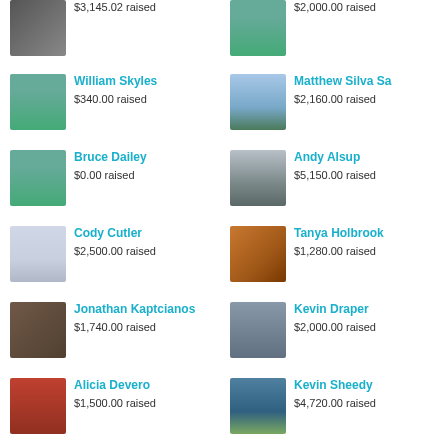$3,145.02 raised
$2,000.00 raised
William Skyles
$340.00 raised
Matthew Silva Sa
$2,160.00 raised
Bruce Dailey
$0.00 raised
Andy Alsup
$5,150.00 raised
Cody Cutler
$2,500.00 raised
Tanya Holbrook
$1,280.00 raised
Jonathan Kaptcianos
$1,740.00 raised
Kevin Draper
$2,000.00 raised
Alicia Devero
$1,500.00 raised
Kevin Sheedy
$4,720.00 raised